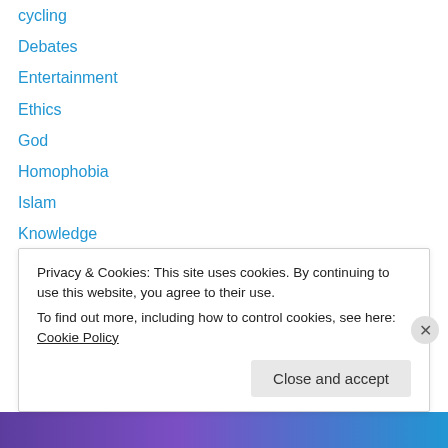cycling
Debates
Entertainment
Ethics
God
Homophobia
Islam
Knowledge
Letters
Meaning of life
Movies
Music
Old Testament
Petitions
Privacy & Cookies: This site uses cookies. By continuing to use this website, you agree to their use.
To find out more, including how to control cookies, see here: Cookie Policy